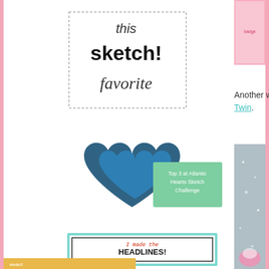[Figure (illustration): Sketch favorite badge — a stamped-style badge with text 'this sketch! favorite' in bold and italic font with a dashed border rectangle]
[Figure (illustration): Blue decorative hearts badge with green banner text: 'Top 3 at Atlantic Hearts Sketch Challenge']
Another winner will get this cute Twin.
[Figure (illustration): Teal-bordered badge reading 'I made the HEADLINES! at the paper players thepaperplayers.blogspot.com' with cartoon ghost reading newspaper]
[Figure (illustration): Partially visible pink/teal image on right side — top portion of a colorful badge]
[Figure (illustration): Partially visible grey/sparkle decorative image on right side — bottom portion]
[Figure (illustration): Partially visible colored bar at very bottom left]